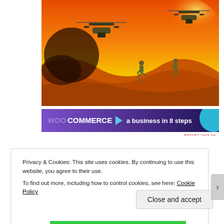[Figure (illustration): Illustrated scene of military helicopters and soldiers running in an orange desert landscape with dramatic sky]
[Figure (infographic): WooCommerce advertisement banner: 'a business in 8 steps' on purple background with teal circle graphic]
REPORT THIS AD
Privacy & Cookies: This site uses cookies. By continuing to use this website, you agree to their use.
To find out more, including how to control cookies, see here: Cookie Policy
Close and accept